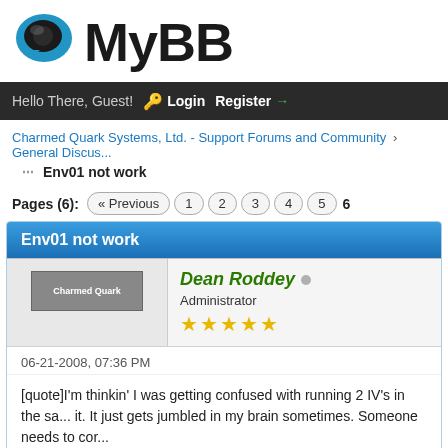[Figure (logo): MyBB forum logo with blue speech bubble icon and bold MyBB text]
Hello There, Guest! Login Register
Charmed Quark Systems, Ltd. - Support Forums and Community › General Discus...
Env01 not work
Pages (6): « Previous 1 2 3 4 5 6
Env01 not work
Dean Roddey ● Administrator ★★★★★
06-21-2008, 07:36 PM
[quote]I'm thinkin' I was getting confused with running 2 IV's in the sa... it. It just gets jumbled in my brain sometimes. Someone needs to cor...